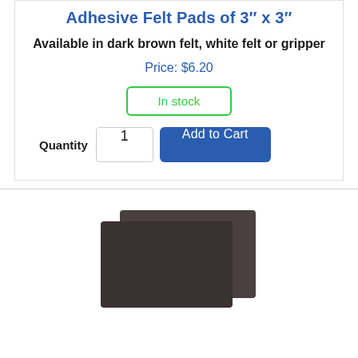Adhesive Felt Pads of 3" x 3"
Available in dark brown felt, white felt or gripper
Price: $6.20
In stock
Quantity  1  Add to Cart
[Figure (photo): Two dark brown adhesive felt pads of 3" x 3" shown overlapping slightly on a white background]